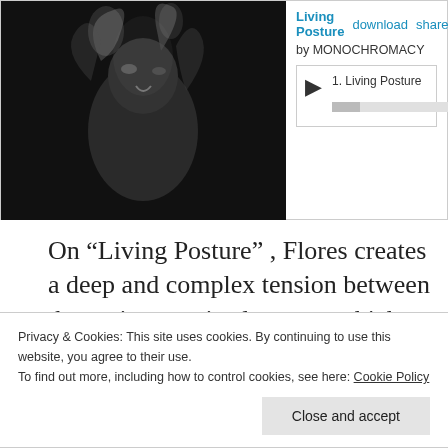[Figure (screenshot): Bandcamp music player showing album art (black and white smoky figure) for 'Living Posture' by MONOCHROMACY with track listing and playback controls]
On “Living Posture” , Flores creates a deep and complex tension between the various sonic elements, which really doesn’t ever falter throughout the eight tracks of dreary doom. Some of these atmospheres could call back to Times Of Grace era Neurosis (my favorite period of one of my favorite bands ) , SUNN
Privacy & Cookies: This site uses cookies. By continuing to use this website, you agree to their use.
To find out more, including how to control cookies, see here: Cookie Policy
Close and accept